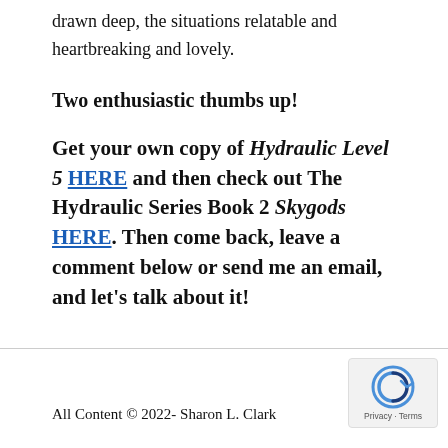drawn deep, the situations relatable and heartbreaking and lovely.
Two enthusiastic thumbs up!
Get your own copy of Hydraulic Level 5 HERE and then check out The Hydraulic Series Book 2 Skygods HERE. Then come back, leave a comment below or send me an email, and let's talk about it!
All Content © 2022- Sharon L. Clark